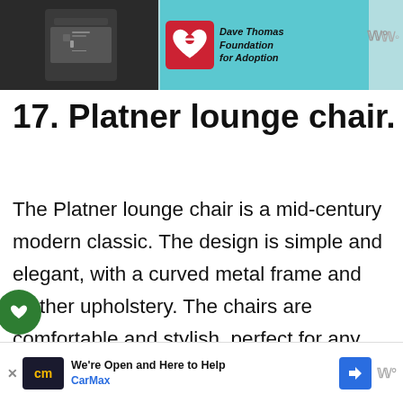[Figure (photo): Top advertisement banner with a dark jacket photo on left and Dave Thomas Foundation for Adoption logo on teal background on right]
17. Platner lounge chair.
The Platner lounge chair is a mid-century modern classic. The design is simple and elegant, with a curved metal frame and leather upholstery. The chairs are comfortable and stylish, perfect for any home or office.
[Figure (infographic): What's Next widget showing Landscaping the Yard... with circular thumbnail]
The Platner lounge chair is a great addition to any home. The design is simple and elegant,
[Figure (screenshot): CarMax advertisement banner: We're Open and Here to Help, with CarMax logo and blue arrow icon]